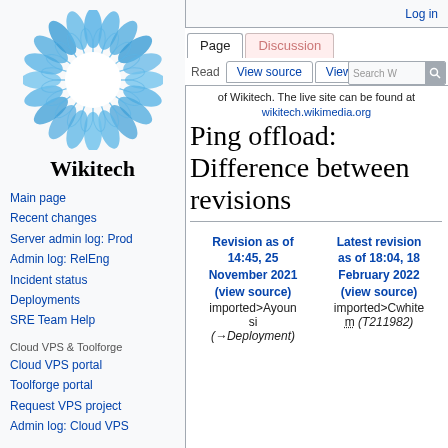Log in
[Figure (logo): Wikitech logo: blue and white sunflower/gear shape with text Wikitech below]
Main page
Recent changes
Server admin log: Prod
Admin log: RelEng
Incident status
Deployments
SRE Team Help
Cloud VPS & Toolforge
Cloud VPS portal
Toolforge portal
Request VPS project
Admin log: Cloud VPS
of Wikitech. The live site can be found at wikitech.wikimedia.org
Ping offload: Difference between revisions
| Revision as of 14:45, 25 November 2021 (view source) | Latest revision as of 18:04, 18 February 2022 (view source) |
| --- | --- |
| imported>Ayounsi | imported>Cwhitem (T211982) |
| (→Deployment) |  |